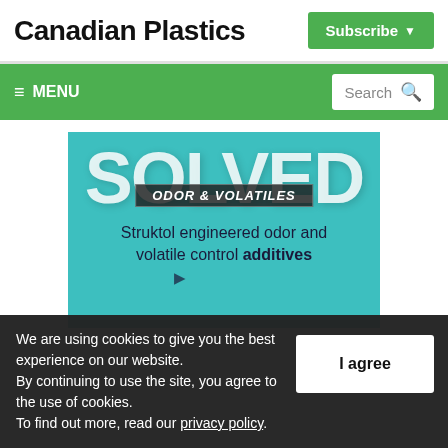Canadian Plastics
Subscribe
≡ MENU
Search
[Figure (illustration): Advertisement banner with teal background showing large white text 'SOLVED' with a dark banner overlay reading 'ODOR & VOLATILES' in italic, and text below: 'Struktol engineered odor and volatile control additives']
We are using cookies to give you the best experience on our website.
By continuing to use the site, you agree to the use of cookies.
To find out more, read our privacy policy.
I agree